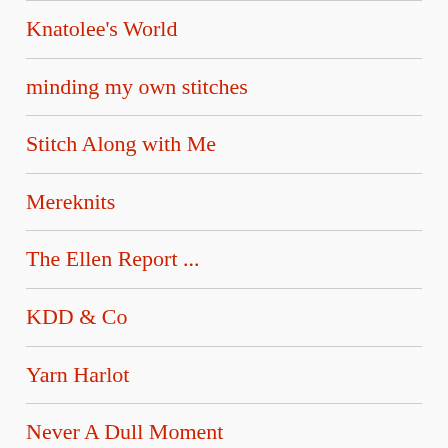Knatolee's World
minding my own stitches
Stitch Along with Me
Mereknits
The Ellen Report ...
KDD & Co
Yarn Harlot
Never A Dull Moment
The Ravell'd Sleave